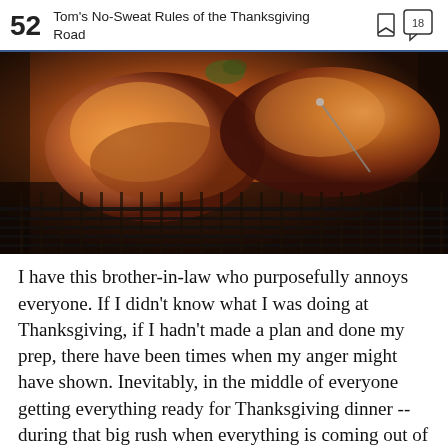52 Tom's No-Sweat Rules of the Thanksgiving Road
[Figure (photo): Close-up photo of roasted turkey pieces on a roasting rack, warmly lit with golden-brown tones]
I have this brother-in-law who purposefully annoys everyone. If I didn't know what I was doing at Thanksgiving, if I hadn't made a plan and done my prep, there have been times when my anger might have shown. Inevitably, in the middle of everyone getting everything ready for Thanksgiving dinner -- during that big rush when everything is coming out of the oven hot, people are carving the turkeys, wate
Report an ad